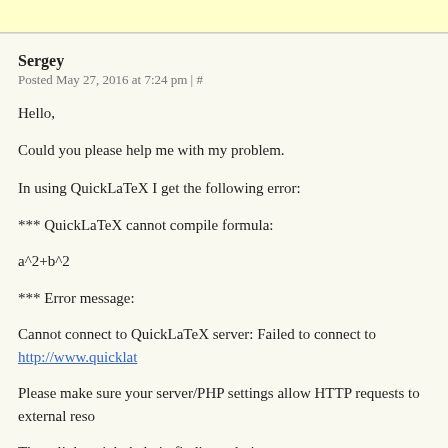Sergey
Posted May 27, 2016 at 7:24 pm | #
Hello,
Could you please help me with my problem.
In using QuickLaTeX I get the following error:
*** QuickLaTeX cannot compile formula:
a^2+b^2
*** Error message:
Cannot connect to QuickLaTeX server: Failed to connect to http://www.quicklat...
Please make sure your server/PHP settings allow HTTP requests to external reso...
These links might help in finding solution:
http://wordpress.org/extend/plugins/core-control/
http://wordpress.org/support/topic/an-unexpected-http-error-occurred-during-the
I've never seen this before – and I have indeed checked that my /etc/php5/apach... flumoxxed by this and would be very grateful of some advice!